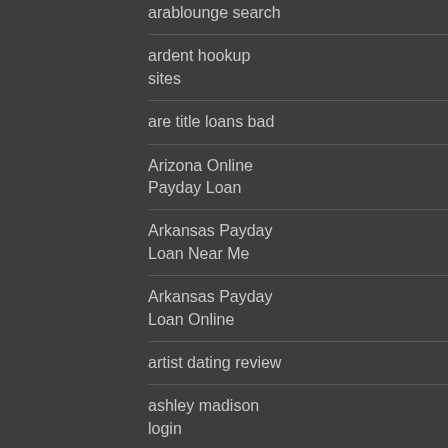arablounge search
ardent hookup sites
are title loans bad
Arizona Online Payday Loan
Arkansas Payday Loan Near Me
Arkansas Payday Loan Online
artist dating review
ashley madison login